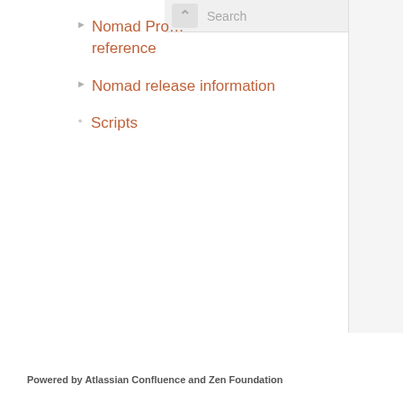Nomad Pro… reference
Nomad release information
Scripts
Powered by Atlassian Confluence and Zen Foundation